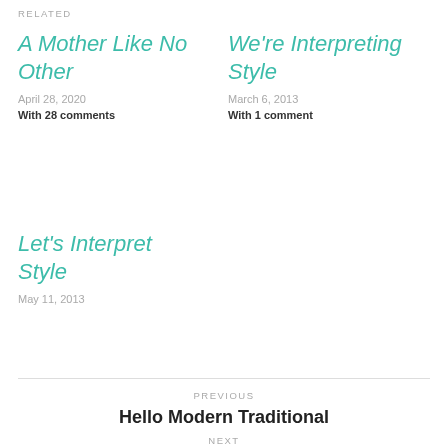RELATED
A Mother Like No Other
April 28, 2020
With 28 comments
We're Interpreting Style
March 6, 2013
With 1 comment
Let's Interpret Style
May 11, 2013
PREVIOUS
Hello Modern Traditional
NEXT